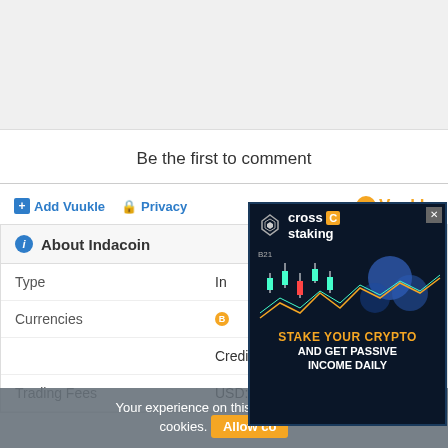[Figure (other): Gray placeholder box at the top of the page]
Be the first to comment
Add Vuukle  Privacy  Vuukle
About Indacoin
|  |  |
| --- | --- |
| Type | In... |
| Currencies | B... |
|  | Credit Card |
| Trading Fees | USD: 25% |
[Figure (advertisement): Cross staking advertisement with crypto chart and text: STAKE YOUR CRYPTO AND GET PASSIVE INCOME DAILY]
Your experience on this site will be... cookies. Allow co...